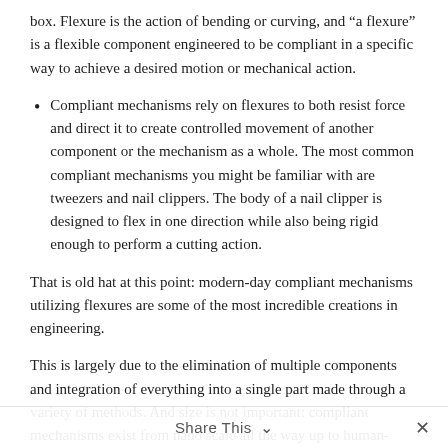box. Flexure is the action of bending or curving, and “a flexure” is a flexible component engineered to be compliant in a specific way to achieve a desired motion or mechanical action.
Compliant mechanisms rely on flexures to both resist force and direct it to create controlled movement of another component or the mechanism as a whole. The most common compliant mechanisms you might be familiar with are tweezers and nail clippers. The body of a nail clipper is designed to flex in one direction while also being rigid enough to perform a cutting action.
That is old hat at this point: modern-day compliant mechanisms utilizing flexures are some of the most incredible creations in engineering.
This is largely due to the elimination of multiple components and integration of everything into a single part made through a variety of methods. And size is not important: compliant mechanisms exist from nano scale all the way up to human-scale gripping devices and tools.
Share This